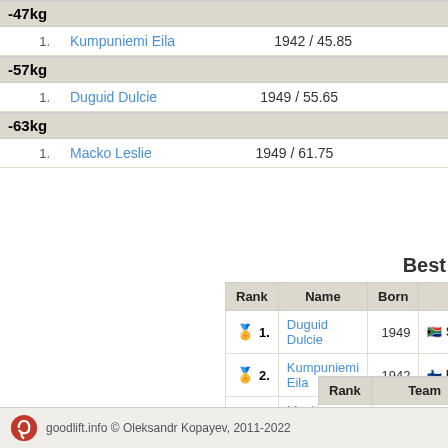-47kg
|  | Name | Born / Body weight |  |
| --- | --- | --- | --- |
| 1. | Kumpuniemi Eila | 1942 / 45.85 |  |
-57kg
|  | Name | Born / Body weight |  |
| --- | --- | --- | --- |
| 1. | Duguid Dulcie | 1949 / 55.65 |  |
-63kg
|  | Name | Born / Body weight |  |
| --- | --- | --- | --- |
| 1. | Macko Leslie | 1949 / 61.75 |  |
Best
| Rank | Name | Born |  |
| --- | --- | --- | --- |
| 🥇 1. | Duguid Dulcie | 1949 | South Africa |
| 🥈 2. | Kumpuniemi Eila | 1942 | Finland |
| 🥉 3. | Macko Leslie | 1949 | U.S. |
| Rank | Team |
| --- | --- |
| 1. | South Africa |
| 2. | Finland |
| 3. | U.S.America |
goodlift.info © Oleksandr Kopayev, 2011-2022